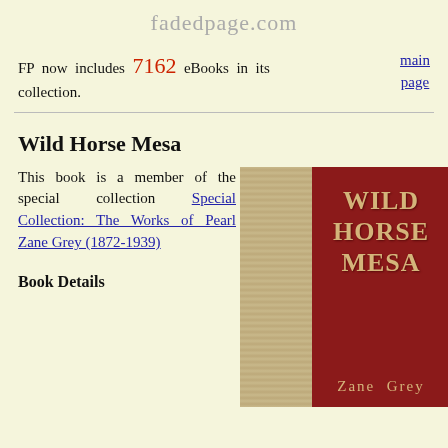fadedpage.com
FP now includes 7162 eBooks in its collection.
main page
Wild Horse Mesa
This book is a member of the special collection Special Collection: The Works of Pearl Zane Grey (1872-1939)
Book Details
[Figure (illustration): Book cover of Wild Horse Mesa by Zane Grey. Left half shows a tan/beige textured cloth. Right half is dark red/maroon with bold gold text reading WILD HORSE MESA and author name Zane Grey at the bottom.]